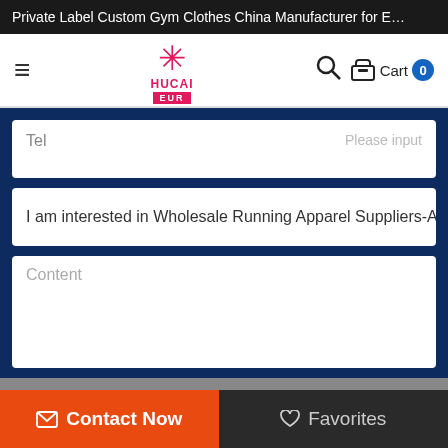Private Label Custom Gym Clothes China Manufacturer for E…
[Figure (logo): HUCAI EUR logo with pink asterisk/star symbol above text HUCAI and EUR in pink box]
Tel
Please input
I am interested in Wholesale Running Apparel Suppliers-Active C
Content
Contact Now
Favorites